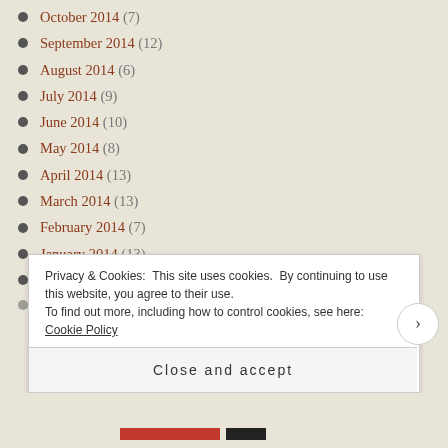October 2014 (7)
September 2014 (12)
August 2014 (6)
July 2014 (9)
June 2014 (10)
May 2014 (8)
April 2014 (13)
March 2014 (13)
February 2014 (7)
January 2014 (13)
December 2013 (15)
Privacy & Cookies: This site uses cookies. By continuing to use this website, you agree to their use. To find out more, including how to control cookies, see here: Cookie Policy
Close and accept